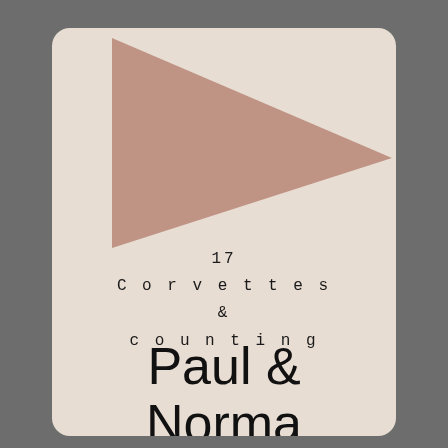[Figure (illustration): Book cover with a beige/tan background card with rounded corners. A muted rose/dusty pink triangle pointing right occupies the upper portion. Below the triangle is text reading '17 Corvettes & counting' in a spaced monospace font, and below that in large sans-serif font reads 'Paul & Norma'.]
17 Corvettes & counting
Paul & Norma